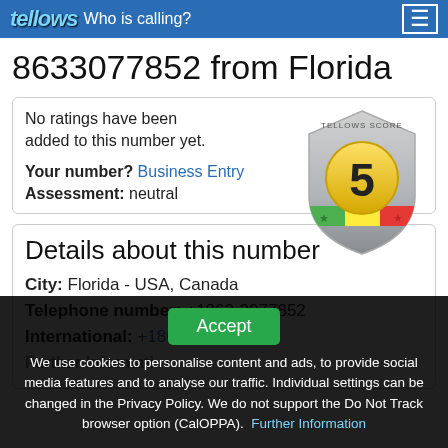tellows — Who is calling?
8633077852 from Florida
No ratings have been added to this number yet.

Your number? Business Entry
Assessment: neutral
[Figure (illustration): Tellows Score shield badge showing score of 5, with green, yellow, orange color gradient and stars]
Details about this number
City: Florida - USA, Canada
Telephone number: +1863-3077852
International: +18633077852
Further Information
We use cookies to personalise content and ads, to provide social media features and to analyse our traffic. Individual settings can be changed in the Privacy Policy. We do not support the Do Not Track browser option (CalOPPA). Further Information